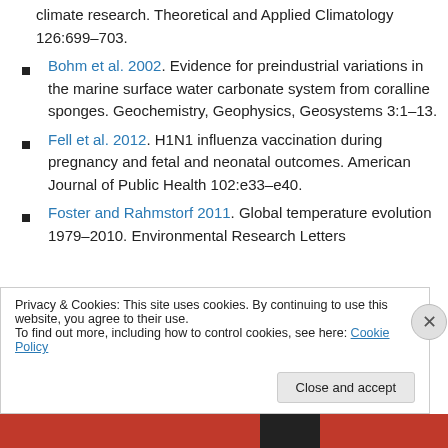climate research. Theoretical and Applied Climatology 126:699–703.
Bohm et al. 2002. Evidence for preindustrial variations in the marine surface water carbonate system from coralline sponges. Geochemistry, Geophysics, Geosystems 3:1–13.
Fell et al. 2012. H1N1 influenza vaccination during pregnancy and fetal and neonatal outcomes. American Journal of Public Health 102:e33–e40.
Foster and Rahmstorf 2011. Global temperature evolution 1979–2010. Environmental Research Letters
Privacy & Cookies: This site uses cookies. By continuing to use this website, you agree to their use.
To find out more, including how to control cookies, see here: Cookie Policy